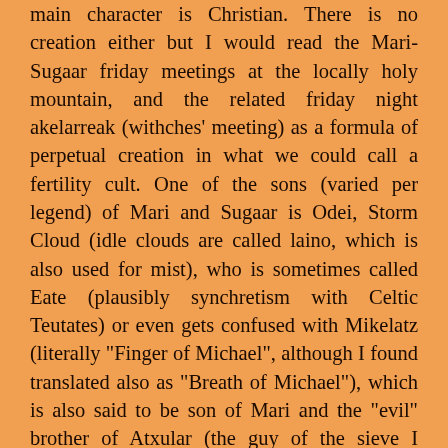main character is Christian. There is no creation either but I would read the Mari-Sugaar friday meetings at the locally holy mountain, and the related friday night akelarreak (withches' meeting) as a formula of perpetual creation in what we could call a fertility cult. One of the sons (varied per legend) of Mari and Sugaar is Odei, Storm Cloud (idle clouds are called laino, which is also used for mist), who is sometimes called Eate (plausibly synchretism with Celtic Teutates) or even gets confused with Mikelatz (literally "Finger of Michael", although I found translated also as "Breath of Michael"), which is also said to be son of Mari and the "evil" brother of Atxular (the guy of the sieve I mentioned before). Anyhow Odei or the storm is surely understood as the one who brings fertility to Earth (so the eternal rebirth cycle is completed, farmer mentality) but it's known also to have been subject of "spells", which the farmers recited asking the hail to fall somewhere else. This is a very rainy country and rains and storms are very